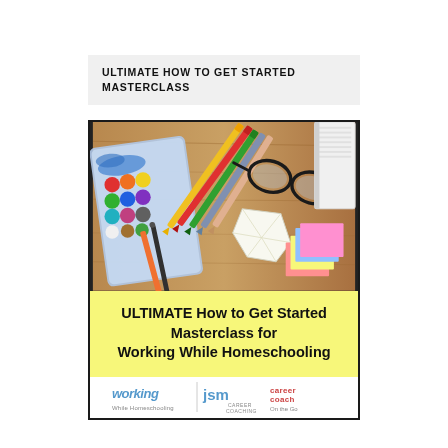ULTIMATE HOW TO GET STARTED MASTERCLASS
[Figure (illustration): Promotional image for 'ULTIMATE How to Get Started Masterclass for Working While Homeschooling'. Top half shows a photo of art supplies (watercolor paints, colored pencils, glasses, sticky notes, crumpled paper) on a wooden desk. Bottom portion has a yellow banner with bold black text reading 'ULTIMATE How to Get Started Masterclass for Working While Homeschooling'. Below the banner are three logos: 'Working While Homeschooling', 'JSM Career Coaching', and 'Career Coach On the Go'.]